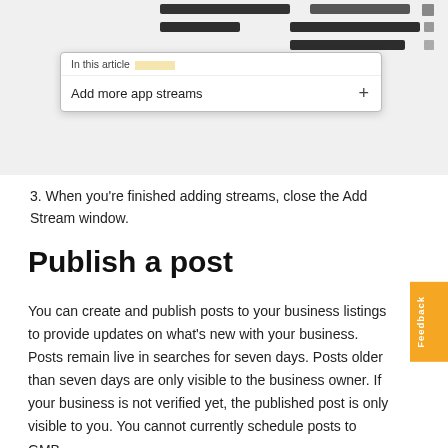[Figure (screenshot): Screenshot of a UI panel showing blurred/redacted content rows with a tooltip overlay reading 'In this article' and 'Add more app streams +']
3. When you're finished adding streams, close the Add Stream window.
Publish a post
You can create and publish posts to your business listings to provide updates on what's new with your business. Posts remain live in searches for seven days. Posts older than seven days are only visible to the business owner. If your business is not verified yet, the published post is only visible to you. You cannot currently schedule posts to GMB.